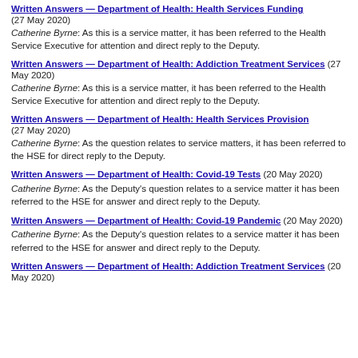Written Answers — Department of Health: Health Services Funding (27 May 2020)
Catherine Byrne: As this is a service matter, it has been referred to the Health Service Executive for attention and direct reply to the Deputy.
Written Answers — Department of Health: Addiction Treatment Services (27 May 2020)
Catherine Byrne: As this is a service matter, it has been referred to the Health Service Executive for attention and direct reply to the Deputy.
Written Answers — Department of Health: Health Services Provision (27 May 2020)
Catherine Byrne: As the question relates to service matters, it has been referred to the HSE for direct reply to the Deputy.
Written Answers — Department of Health: Covid-19 Tests (20 May 2020)
Catherine Byrne: As the Deputy's question relates to a service matter it has been referred to the HSE for answer and direct reply to the Deputy.
Written Answers — Department of Health: Covid-19 Pandemic (20 May 2020)
Catherine Byrne: As the Deputy's question relates to a service matter it has been referred to the HSE for answer and direct reply to the Deputy.
Written Answers — Department of Health: Addiction Treatment Services (20 May 2020)